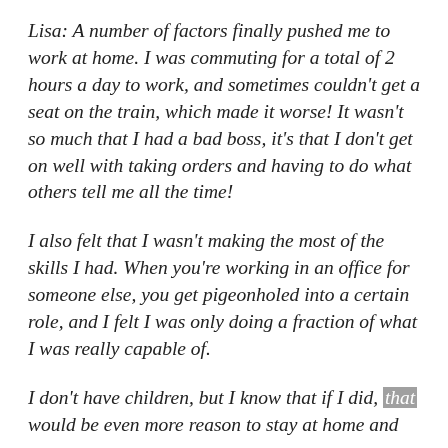Lisa: A number of factors finally pushed me to work at home. I was commuting for a total of 2 hours a day to work, and sometimes couldn't get a seat on the train, which made it worse! It wasn't so much that I had a bad boss, it's that I don't get on well with taking orders and having to do what others tell me all the time!
I also felt that I wasn't making the most of the skills I had. When you're working in an office for someone else, you get pigeonholed into a certain role, and I felt I was only doing a fraction of what I was really capable of.
I don't have children, but I know that if I did, that would be even more reason to stay at home and